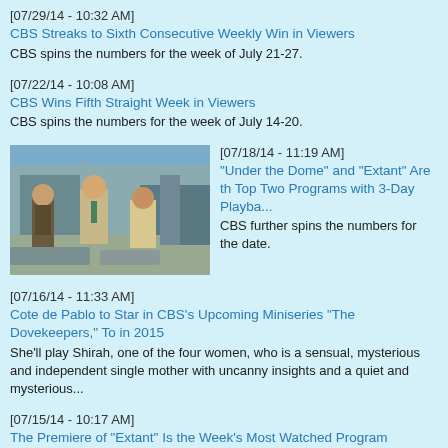[07/29/14 - 10:32 AM]
CBS Streaks to Sixth Consecutive Weekly Win in Viewers
CBS spins the numbers for the week of July 21-27.
[07/22/14 - 10:08 AM]
CBS Wins Fifth Straight Week in Viewers
CBS spins the numbers for the week of July 14-20.
[Figure (photo): Three men standing outdoors, one in foreground looking upward, two others beside him, city background]
[07/18/14 - 11:19 AM]
"Under the Dome" and "Extant" Are the Top Two Programs with 3-Day Playba...
CBS further spins the numbers for the date.
[07/16/14 - 11:33 AM]
Cote de Pablo to Star in CBS's Upcoming Miniseries "The Dovekeepers," To... in 2015
She'll play Shirah, one of the four women, who is a sensual, mysterious and independent single mother with uncanny insights and a quiet and mysterious...
[07/15/14 - 10:17 AM]
The Premiere of "Extant" Is the Week's Most Watched Program
CBS spins the numbers for the week of July 7-13.
[07/09/14 - 10:46 AM]
CBS Wins Third Straight Week in Viewers; "Under the Dome" Is Top Scripte... Viewers and Demos
CBS spins the numbers for the week of June 30-July 6.